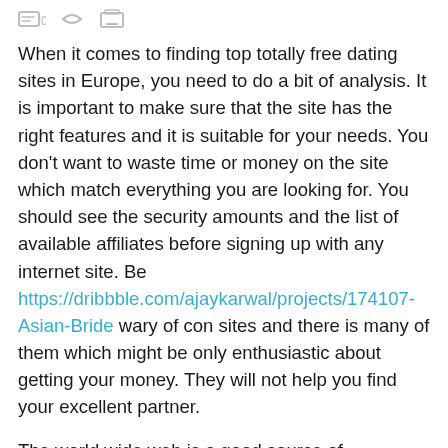0
When it comes to finding top totally free dating sites in Europe, you need to do a bit of analysis. It is important to make sure that the site has the right features and it is suitable for your needs. You don't want to waste time or money on the site which match everything you are looking for. You should see the security amounts and the list of available affiliates before signing up with any internet site. Be https://dribbble.com/ajaykarwal/projects/174107-Asian-Bride wary of con sites and there is many of them which might be only enthusiastic about getting your money. They will not help you find your excellent partner.
The world wide web is a good source of information regarding top free internet dating sites in The european countries. You can use the Internet to search for more